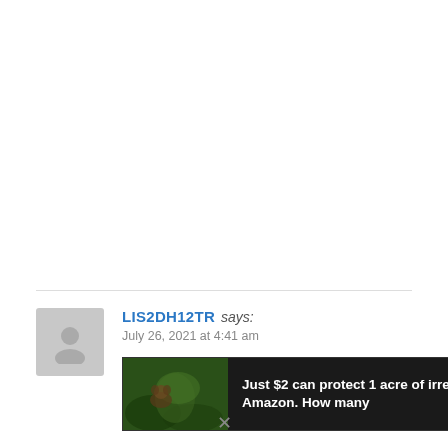LIS2DH12TR says: July 26, 2021 at 4:41 am
[Figure (photo): Advertisement banner: dark background with wildlife/forest photo on the left and text 'Just $2 can protect 1 acre of irreplaceable forest homes in the Amazon. How many' in white bold text on the right.]